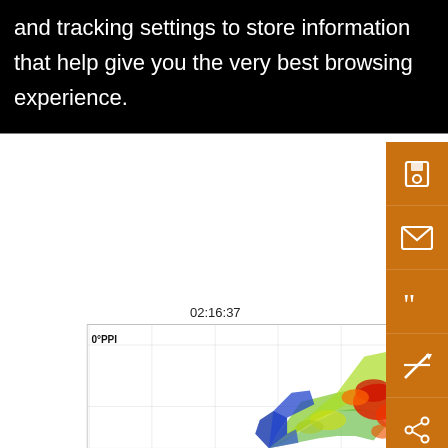and tracking settings to store information that help give you the very best browsing experience.
[Figure (other): Orange sidebar with save, email, quote, annotation, and share icons]
map
sca
refl
(rig
app
alip
the
wir
02:16:37
[Figure (other): Radar PPI scan labeled 0°PPI showing reflectivity in dBZ. Color coded from -5.0 to 25.0 dBZ (purple/blue for low values, green/yellow for mid, red for high). X-distance (km) axis from -40 to 40, Y-distance (km) axis from -40 to 40. Storm cells visible with fan-like pattern pointing toward upper right with high reflectivity (red) cells.]
02:15:39
02:16:01
[Figure (other): RHI scans at 245.3° and 75.3°, Y-axis labeled E (km), showing partial scan data at bottom of image.]